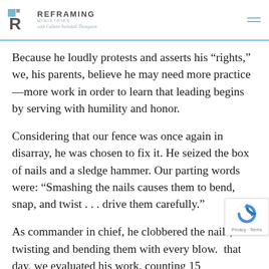REFRAMING MINISTRIES with Calleen Swindall Thompson
Because he loudly protests and asserts his “rights,” we, his parents, believe he may need more practice—more work in order to learn that leading begins by serving with humility and honor.
Considering that our fence was once again in disarray, he was chosen to fix it. He seized the box of nails and a sledge hammer. Our parting words were: “Smashing the nails causes them to bend, snap, and twist . . . drive them carefully.”
As commander in chief, he clobbered the nails, twisting and bending them with every blow. . . that day, we evaluated his work, counting 15